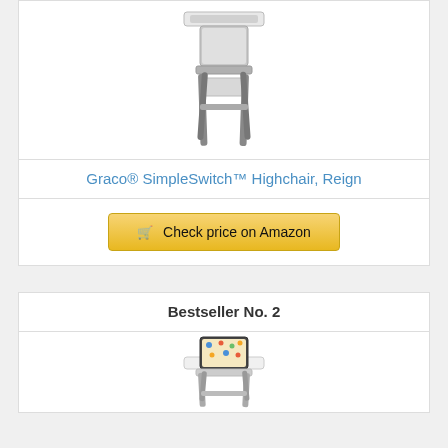[Figure (photo): Graco SimpleSwitch Highchair in Reign colorway - gray high chair with tray]
Graco® SimpleSwitch™ Highchair, Reign
Check price on Amazon
Bestseller No. 2
[Figure (photo): Baby high chair with colorful pattern seat and white tray]